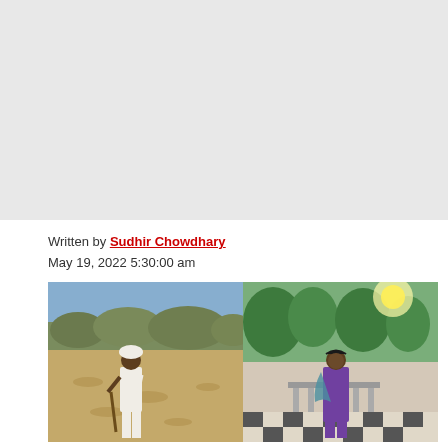[Figure (other): Large gray placeholder area at top of page, representing an image region that is not loaded]
Written by Sudhir Chowdhary
May 19, 2022 5:30:00 am
[Figure (photo): Two side-by-side photographs: left photo shows a man wearing a white turban and white clothes holding a stick, standing in a dry open field with hills in background; right photo shows a woman wearing a purple saree standing outdoors with trees and a structure in background]